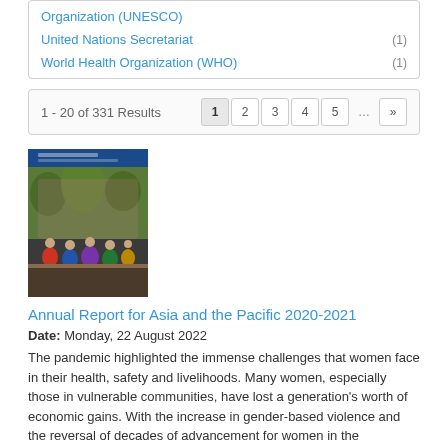Organization (UNESCO)
United Nations Secretariat (1)
World Health Organization (WHO) (1)
1 - 20 of 331 Results
[Figure (screenshot): Thumbnail cover image of the Annual Report for Asia and the Pacific 2020-2021, showing women in colorful traditional dress seated in front of a decorative backdrop with trees and foliage.]
Annual Report for Asia and the Pacific 2020-2021
Date: Monday, 22 August 2022
The pandemic highlighted the immense challenges that women face in their health, safety and livelihoods. Many women, especially those in vulnerable communities, have lost a generation's worth of economic gains. With the increase in gender-based violence and the reversal of decades of advancement for women in the workplace, we have reached an inflection point for gender equality.